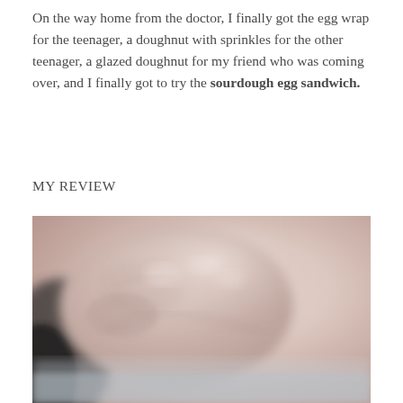On the way home from the doctor, I finally got the egg wrap for the teenager, a doughnut with sprinkles for the other teenager, a glazed doughnut for my friend who was coming over, and I finally got to try the sourdough egg sandwich.
MY REVIEW
[Figure (photo): Close-up blurry photograph of what appears to be a clenched fist or hand, with pinkish skin tones, taken from a car interior angle]